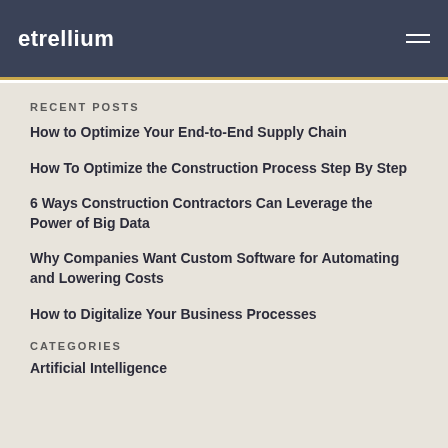etrellium
RECENT POSTS
How to Optimize Your End-to-End Supply Chain
How To Optimize the Construction Process Step By Step
6 Ways Construction Contractors Can Leverage the Power of Big Data
Why Companies Want Custom Software for Automating and Lowering Costs
How to Digitalize Your Business Processes
CATEGORIES
Artificial Intelligence